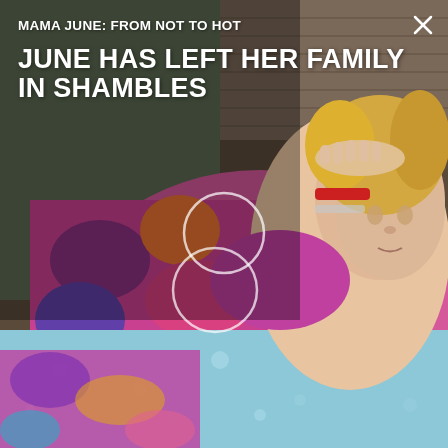[Figure (photo): A woman with blonde hair lying in bed, wearing a colorful floral/patterned top, with a light blue polka-dot blanket. She has a red wristband and has her hand raised to her forehead, looking upward. The background shows blinds.]
MAMA JUNE: FROM NOT TO HOT
JUNE HAS LEFT HER FAMILY IN SHAMBLES